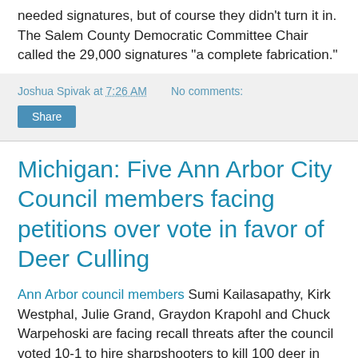needed signatures, but of course they didn't turn it in. The Salem County Democratic Committee Chair called the 29,000 signatures "a complete fabrication."
Joshua Spivak at 7:26 AM   No comments:
Share
Michigan: Five Ann Arbor City Council members facing petitions over vote in favor of Deer Culling
Ann Arbor council members Sumi Kailasapathy, Kirk Westphal, Julie Grand, Graydon Krapohl and Chuck Warpehoski are facing recall threats after the council voted 10-1 to hire sharpshooters to kill 100 deer in city parks this year (the Mayor was the only no vote). The other members of the council either can't be recalled yet (because they either haven't served 6 months) or weren't on the council.